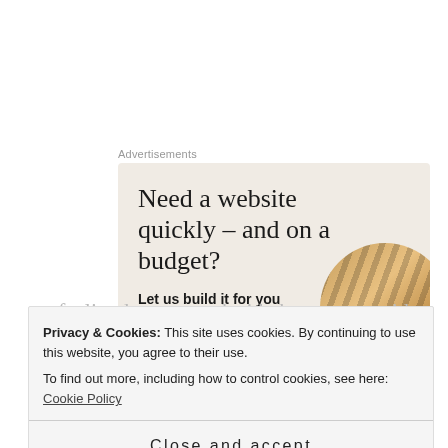Advertisements
[Figure (illustration): Advertisement banner with beige/cream background showing headline 'Need a website quickly – and on a budget?' with subtext 'Let us build it for you', a white button 'Let's get started', and a circular image of hands working with textile/fabric.]
By the morning of 4th September, as both were still not feeling better, we decided to get a covid-19 test done...
Privacy & Cookies: This site uses cookies. By continuing to use this website, you agree to their use. To find out more, including how to control cookies, see here: Cookie Policy
Close and accept
Prasanna and my +1 outside their rooms by midnight